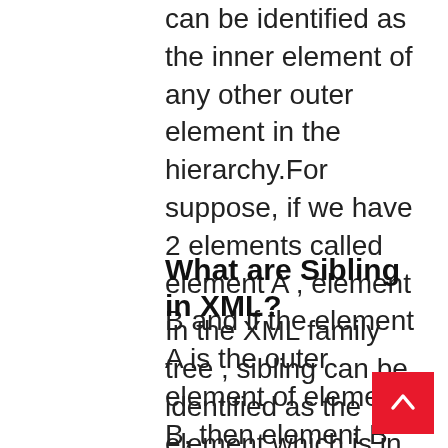can be identified as the inner element of any other outer element in the hierarchy.For suppose, if we have 2 elements called element A , element B and if the element A is the outer element of element B, then element B will be called as child of element A. Learn more..
What are Sibling in XML?
In the XML family tree , sibling can be identified as the element which is in the same hierarchy of any other element in the XML